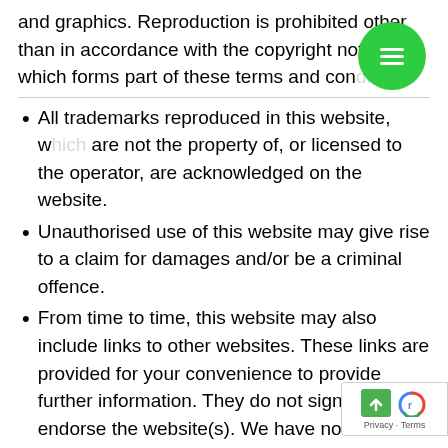and graphics. Reproduction is prohibited other than in accordance with the copyright notice which forms part of these terms and conditions.
All trademarks reproduced in this website, which are not the property of, or licensed to the operator, are acknowledged on the website.
Unauthorised use of this website may give rise to a claim for damages and/or be a criminal offence.
From time to time, this website may also include links to other websites. These links are provided for your convenience to provide further information. They do not signify that we endorse the website(s). We have no responsibility for the content of the linked website(s).
Your use of this website and any dispute arising out of such use of the website is subject to th...